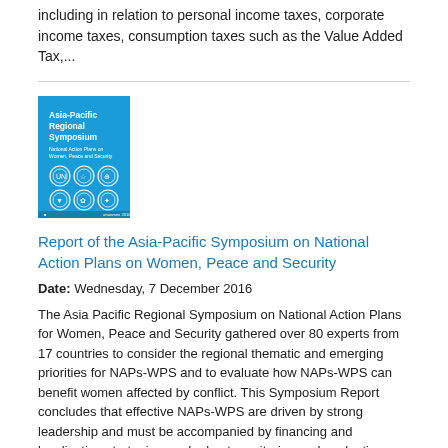including in relation to personal income taxes, corporate income taxes, consumption taxes such as the Value Added Tax,...
[Figure (illustration): Book cover for Asia-Pacific Regional Symposium report, blue cover with white text and circular icon designs]
Report of the Asia-Pacific Symposium on National Action Plans on Women, Peace and Security
Date: Wednesday, 7 December 2016
The Asia Pacific Regional Symposium on National Action Plans for Women, Peace and Security gathered over 80 experts from 17 countries to consider the regional thematic and emerging priorities for NAPs-WPS and to evaluate how NAPs-WPS can benefit women affected by conflict. This Symposium Report concludes that effective NAPs-WPS are driven by strong leadership and must be accompanied by financing and localization strategies, and robust monitoring and evaluation systems. Most importantly, the development and effective implementation of NAPs-WPS must be inclusive and reflect civil society perspectives, especially women's groups, on women, peace and security.